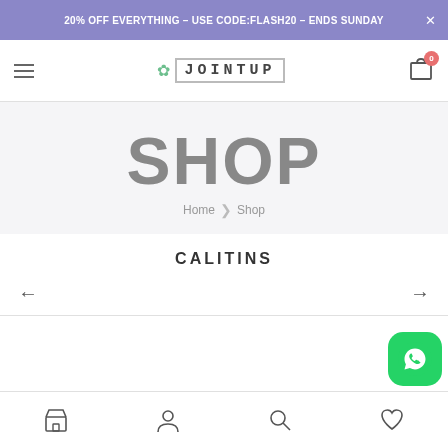20% OFF EVERYTHING – USE CODE:FLASH20 – ENDS SUNDAY
[Figure (screenshot): JointUp cannabis shop website navigation bar with hamburger menu, logo, and cart icon]
SHOP
Home › Shop
CALITINS
[Figure (other): Left arrow navigation button]
[Figure (other): Right arrow navigation button]
Bottom navigation bar with shop, account, search, and wishlist icons
[Figure (other): WhatsApp floating button]